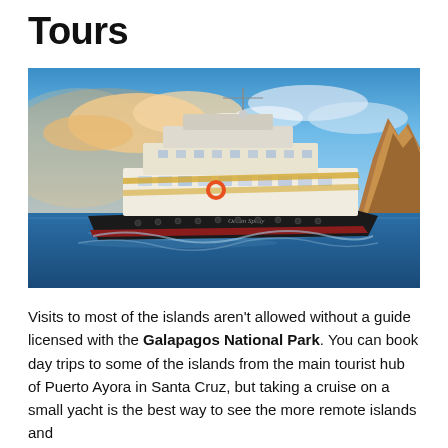Tours
[Figure (photo): A luxury cruise yacht sailing on the ocean near Galapagos Islands, with dramatic clouds and a rock formation in the background at sunset.]
Visits to most of the islands aren't allowed without a guide licensed with the Galapagos National Park. You can book day trips to some of the islands from the main tourist hub of Puerto Ayora in Santa Cruz, but taking a cruise on a small yacht is the best way to see the more remote islands and